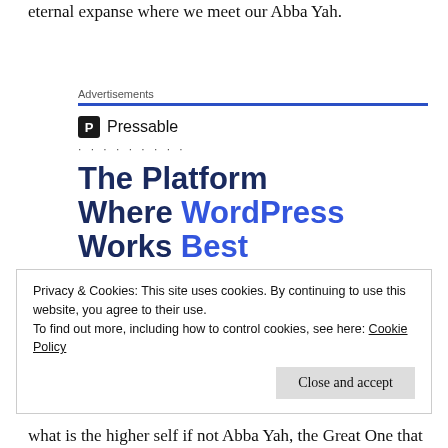eternal expanse where we meet our Abba Yah.
[Figure (infographic): Pressable advertisement banner with logo, dots, and headline 'The Platform Where WordPress Works Best' with a 'SEE PRICING' button]
Privacy & Cookies: This site uses cookies. By continuing to use this website, you agree to their use.
To find out more, including how to control cookies, see here: Cookie Policy
what is the higher self if not Abba Yah, the Great One that